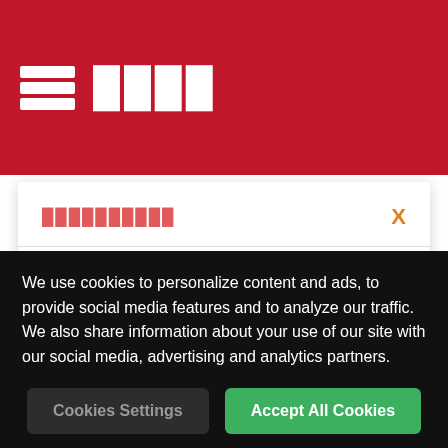☰ ████
██████████
English
Deutsch
Português
██████████████
██
███
☐ ██████
X
▶ 3DMark adds new SSD benchmark for gamers
We use cookies to personalize content and ads, to provide social media features and to analyze our traffic. We also share information about your use of our site with our social media, advertising and analytics partners.
Cookies Settings
Accept All Cookies